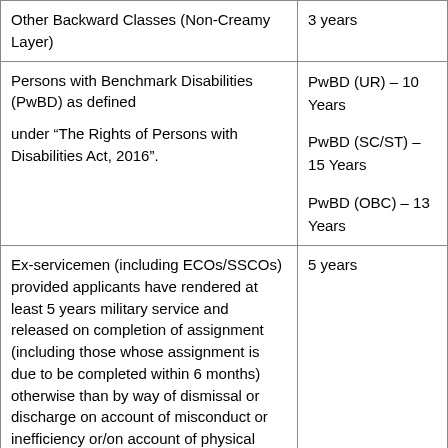| Category | Age Relaxation |
| --- | --- |
| Other Backward Classes (Non-Creamy Layer) | 3 years |
| Persons with Benchmark Disabilities (PwBD) as defined under “The Rights of Persons with Disabilities Act, 2016”. | PwBD (UR) – 10 Years
PwBD (SC/ST) – 15 Years
PwBD (OBC) – 13 Years |
| Ex-servicemen (including ECOs/SSCOs) provided applicants have rendered at least 5 years military service and released on completion of assignment (including those whose assignment is due to be completed within 6 months) otherwise than by way of dismissal or discharge on account of misconduct or inefficiency or/on account of physical disability or have | 5 years |